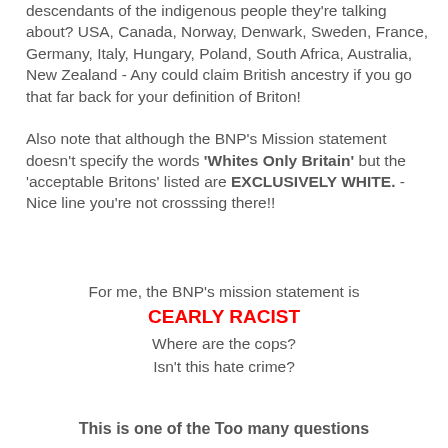descendants of the indigenous people they're talking about? USA, Canada, Norway, Denwark, Sweden, France, Germany, Italy, Hungary, Poland, South Africa, Australia, New Zealand - Any could claim British ancestry if you go that far back for your definition of Briton!

Also note that although the BNP's Mission statement doesn't specify the words 'Whites Only Britain' but the 'acceptable Britons' listed are EXCLUSIVELY WHITE. - Nice line you're not crosssing there!!
For me, the BNP's mission statement is
CEARLY RACIST
Where are the cops?
Isn't this hate crime?
This is one of the Too many questions